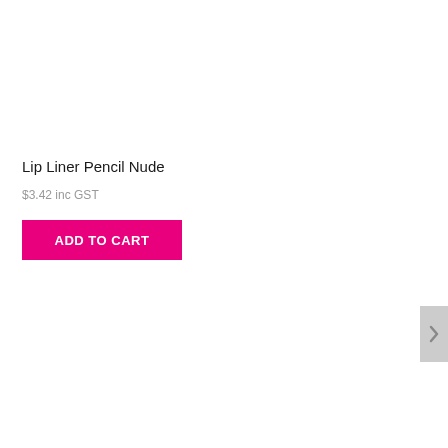Lip Liner Pencil Nude
$3.42 inc GST
ADD TO CART